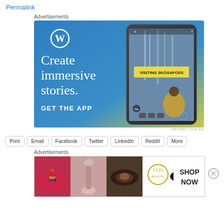Permalink
Advertisements
[Figure (screenshot): WordPress advertisement showing 'Create immersive stories. GET THE APP' with a smartphone displaying a travel story about Skogafoss waterfall, on a blue gradient background with WordPress logo.]
REPORT THIS AD
Print
Email
Facebook
Twitter
LinkedIn
Reddit
More
Advertisements
[Figure (screenshot): Ulta Beauty advertisement showing close-up images of makeup looks — lips, brush, eye makeup, Ulta Beauty logo, and eyes — with 'SHOP NOW' text on right side.]
REPORT THIS AD